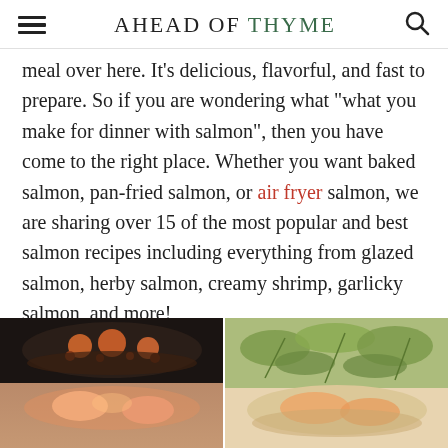AHEAD OF THYME
meal over here. It's delicious, flavorful, and fast to prepare. So if you are wondering what "what you make for dinner with salmon", then you have come to the right place. Whether you want baked salmon, pan-fried salmon, or air fryer salmon, we are sharing over 15 of the most popular and best salmon recipes including everything from glazed salmon, herby salmon, creamy shrimp, garlicky salmon, and more!
[Figure (photo): Two food photos at bottom of page showing salmon dishes in pans/bowls]